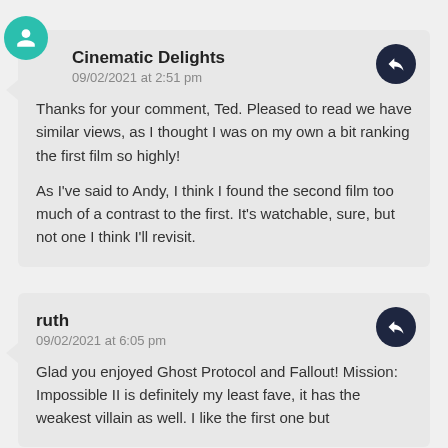Cinematic Delights
09/02/2021 at 2:51 pm
Thanks for your comment, Ted. Pleased to read we have similar views, as I thought I was on my own a bit ranking the first film so highly!
As I've said to Andy, I think I found the second film too much of a contrast to the first. It's watchable, sure, but not one I think I'll revisit.
ruth
09/02/2021 at 6:05 pm
Glad you enjoyed Ghost Protocol and Fallout! Mission: Impossible II is definitely my least fave, it has the weakest villain as well. I like the first one but